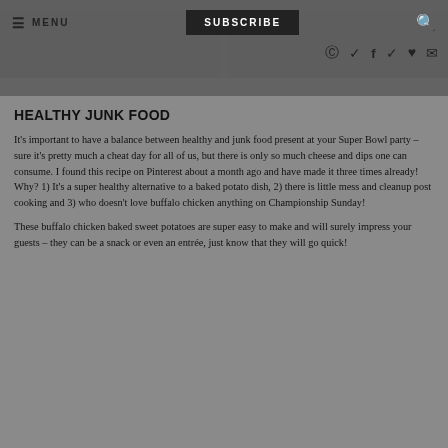≡ MENU  SUBSCRIBE  🔍
[Figure (photo): Website navigation bar with menu, subscribe button, search icon, and social media icons (Instagram, Pinterest, Facebook, Twitter, heart, email). Below is a partial photo strip showing a food image.]
HEALTHY JUNK FOOD
It's important to have a balance between healthy and junk food present at your Super Bowl party – sure it's pretty much a cheat day for all of us, but there is only so much cheese and dips one can consume. I found this recipe on Pinterest about a month ago and have made it three times already! Why? 1) It's a super healthy alternative to a baked potato dish, 2) there is little mess and cleanup post cooking and 3) who doesn't love buffalo chicken anything on Championship Sunday!
These buffalo chicken baked sweet potatoes are super easy to make and will surely impress your guests – they can be a snack or even an entrée, just know that they will go quick!